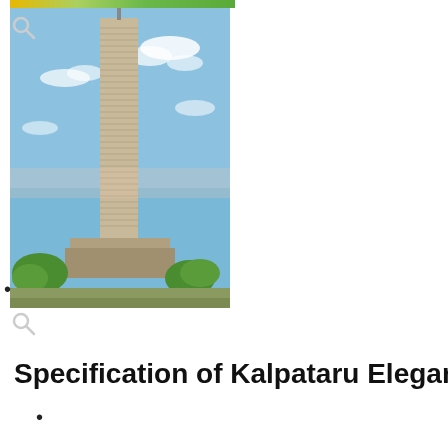[Figure (photo): Photograph of Kalpataru Elegante, a tall modern high-rise residential tower against a blue sky with clouds, surrounded by trees and lower buildings at the base.]
•
Specification of Kalpataru Elegante
•